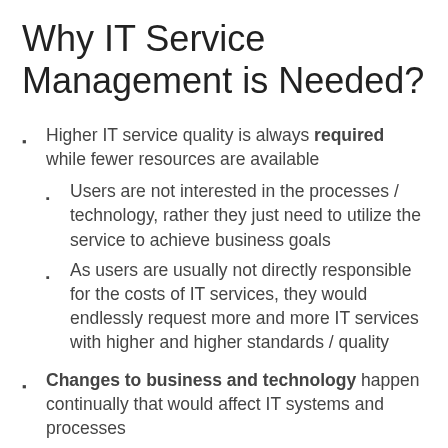Why IT Service Management is Needed?
Higher IT service quality is always required while fewer resources are available
Users are not interested in the processes / technology, rather they just need to utilize the service to achieve business goals
As users are usually not directly responsible for the costs of IT services, they would endlessly request more and more IT services with higher and higher standards / quality
Changes to business and technology happen continually that would affect IT systems and processes